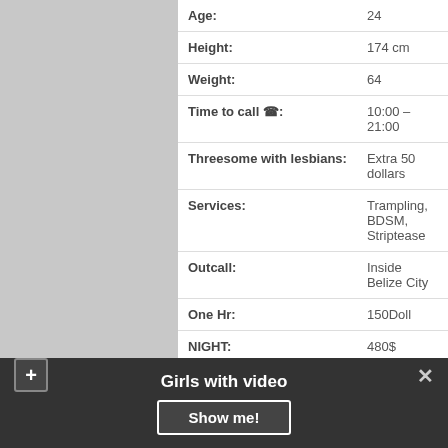| Field | Value |
| --- | --- |
| Age: | 24 |
| Height: | 174 cm |
| Weight: | 64 |
| Time to call ☎: | 10:00 – 21:00 |
| Threesome with lesbians: | Extra 50 dollars |
| Services: | Trampling, BDSM, Striptease |
| Outcall: | Inside Belize City |
| One Hr: | 150Doll |
| NIGHT: | 480$ |
| Boobs: | C☎ |
Girls with video
Show me!